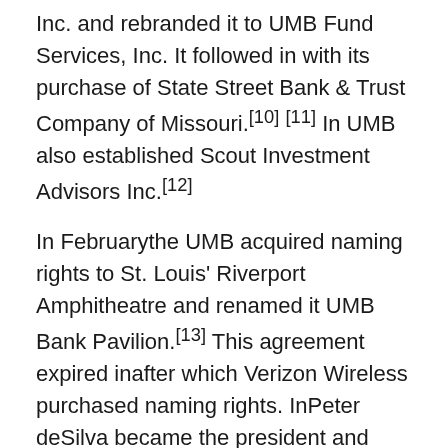Inc. and rebranded it to UMB Fund Services, Inc. It followed in with its purchase of State Street Bank & Trust Company of Missouri.[10][11] In UMB also established Scout Investment Advisors Inc.[12]
In Februarythe UMB acquired naming rights to St. Louis' Riverport Amphitheatre and renamed it UMB Bank Pavilion.[13] This agreement expired inafter which Verizon Wireless purchased naming rights. InPeter deSilva became the president and Mariner Kemper became chairman and CEO of UMB Financial Corporation.[6][14]
In JuneUMB acquired Marquette Financial